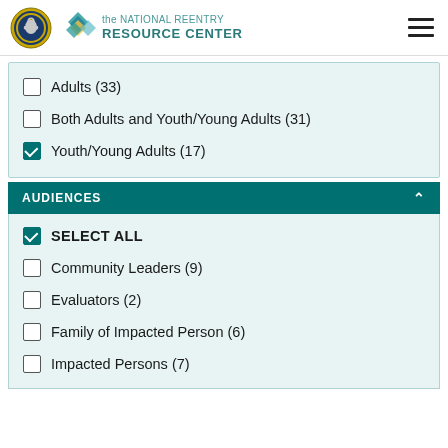[Figure (logo): Department of Justice seal and National Reentry Resource Center logo with diamond/chevron graphic]
Adults (33) — unchecked
Both Adults and Youth/Young Adults (31) — unchecked
Youth/Young Adults (17) — checked
AUDIENCES
SELECT ALL — checked
Community Leaders (9) — unchecked
Evaluators (2) — unchecked
Family of Impacted Person (6) — unchecked
Impacted Persons (7) — unchecked